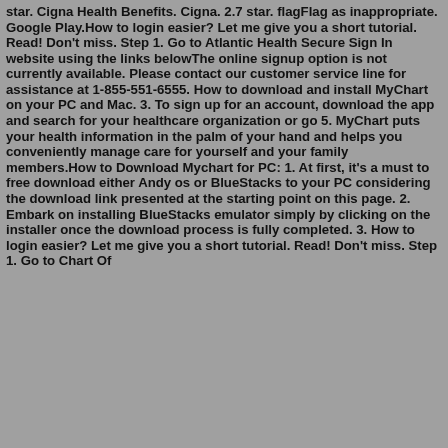star. Cigna Health Benefits. Cigna. 2.7 star. flagFlag as inappropriate. Google Play.How to login easier? Let me give you a short tutorial. Read! Don't miss. Step 1. Go to Atlantic Health Secure Sign In website using the links belowThe online signup option is not currently available. Please contact our customer service line for assistance at 1-855-551-6555. How to download and install MyChart on your PC and Mac. 3. To sign up for an account, download the app and search for your healthcare organization or go 5. MyChart puts your health information in the palm of your hand and helps you conveniently manage care for yourself and your family members.How to Download Mychart for PC: 1. At first, it's a must to free download either Andy os or BlueStacks to your PC considering the download link presented at the starting point on this page. 2. Embark on installing BlueStacks emulator simply by clicking on the installer once the download process is fully completed. 3. How to login easier? Let me give you a short tutorial. Read! Don't miss. Step 1. Go to Chart Of